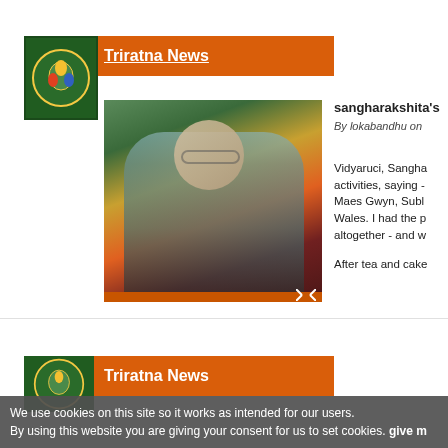Triratna News
[Figure (logo): Triratna Buddhist Community logo — green circle with colored flame/drop shapes on dark green background]
[Figure (photo): Elderly man with grey hair and glasses seated indoors, wearing a teal cardigan, with colorful flowers blurred in background]
sangharakshita's
By lokabandhu on
Vidyaruci, Sangha activities, saying - Maes Gwyn, Subl Wales. I had the p altogether - and w
After tea and cake
Triratna News
[Figure (logo): Triratna Buddhist Community logo — green circle with colored shapes on dark green background]
We use cookies on this site so it works as intended for our users. By using this website you are giving your consent for us to set cookies. give m